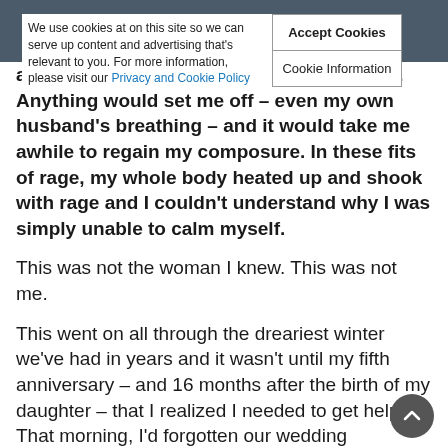We use cookies at on this site so we can serve up content and advertising that's relevant to you. For more information, please visit our Privacy and Cookie Policy
Accept Cookies
Cookie Information
always had a temper but this was different. Anything would set me off – even my own husband's breathing – and it would take me awhile to regain my composure. In these fits of rage, my whole body heated up and shook with rage and I couldn't understand why I was simply unable to calm myself.
This was not the woman I knew. This was not me.
This went on all through the dreariest winter we've had in years and it wasn't until my fifth anniversary – and 16 months after the birth of my daughter – that I realized I needed to get help. That morning, I'd forgotten our wedding anniversary and to top it off, I'd been an insufferable b*tch to my husband since the moment he woke up. (To be honest, he had been living with that same b*tch for the last year – and who wants to be